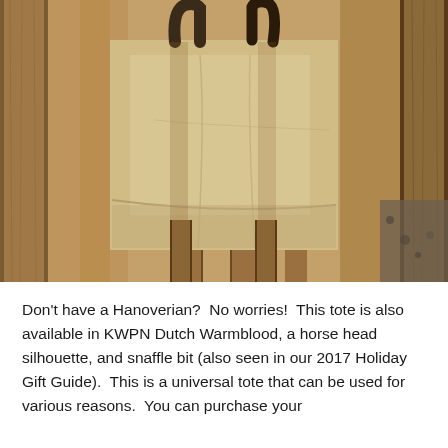[Figure (photo): A burlap/jute tote bag hanging on wooden fence slats or boards, photographed outdoors in bright sunlight. The bag is a natural tan/cream color with dark handles visible at the top. The wooden background shows warm brown tones from sunlit wood.]
Don't have a Hanoverian?  No worries!  This tote is also available in KWPN Dutch Warmblood, a horse head silhouette, and snaffle bit (also seen in our 2017 Holiday Gift Guide).  This is a universal tote that can be used for various reasons.  You can purchase your